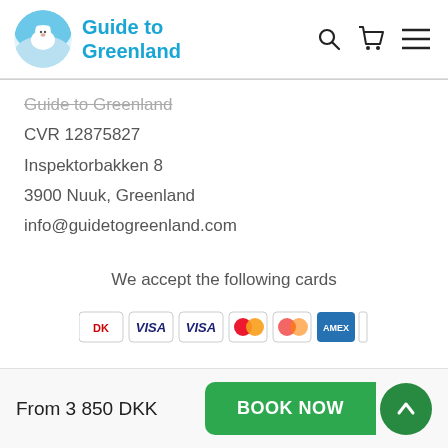[Figure (logo): Guide to Greenland logo with polar bear icon and blue text]
Guide to Greenland
CVR 12875827
Inspektorbakken 8
3900 Nuuk, Greenland
info@guidetogreenland.com
We accept the following cards
[Figure (illustration): Payment card logos: Dankort, Visa (x2), Mastercard (x2), American Express, Maestro]
From 3 850 DKK
BOOK NOW